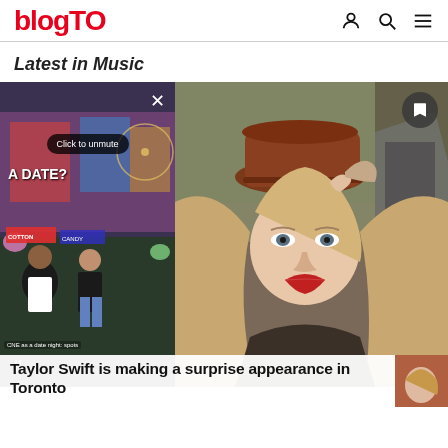blogTO
Latest in Music
[Figure (screenshot): Two-panel image area: left panel shows a video player with CNE crowd scene and overlay text 'Click to unmute' and 'A DATE?'; right panel shows Taylor Swift wearing a rust-colored cap, looking at camera, with a red vintage car visible]
Taylor Swift is making a surprise appearance in Toronto